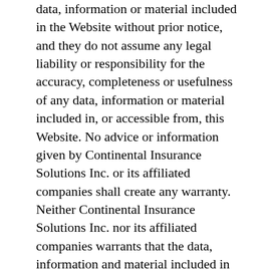data, information or material included in the Website without prior notice, and they do not assume any legal liability or responsibility for the accuracy, completeness or usefulness of any data, information or material included in, or accessible from, this Website. No advice or information given by Continental Insurance Solutions Inc. or its affiliated companies shall create any warranty. Neither Continental Insurance Solutions Inc. nor its affiliated companies warrants that the data, information and material included in the Website or on the Internet will be uninterruptible or error free or that any data, information, software or other material accessible from this Website is free of viruses or other harmful components. Several of our pages describe various insurance products. The